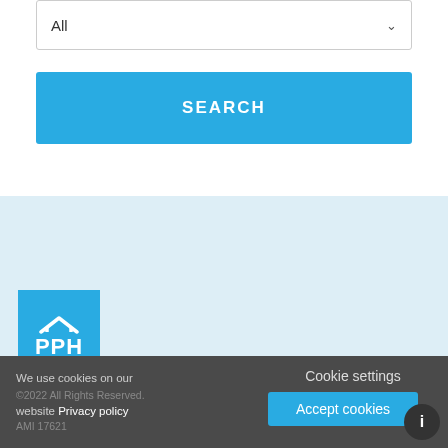[Figure (screenshot): Dropdown selector showing 'All' with a chevron/down arrow]
[Figure (screenshot): Blue SEARCH button]
[Figure (screenshot): Light blue empty content area]
[Figure (logo): PPH logo — blue square with roof/house icon and PPH text in white, dark blue bottom border]
We use cookies on our website Privacy policy
©2022 All Rights Reserved. AMI 17621
Cookie settings
[Figure (screenshot): Blue 'Accept cookies' button]
[Figure (other): Dark circular button with 'i' icon]